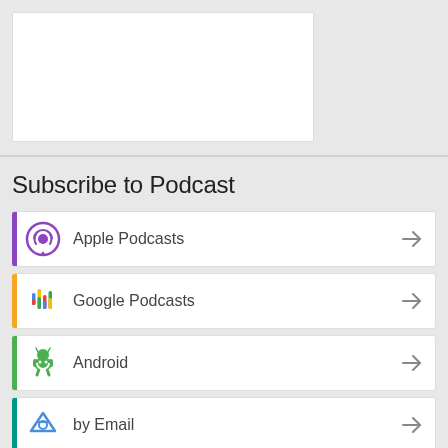[Figure (other): White content box placeholder at top of page]
Subscribe to Podcast
Apple Podcasts
Google Podcasts
Android
by Email
RSS